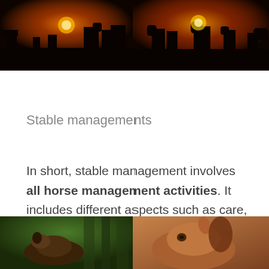[Figure (photo): Two sunset/silhouette photographs side by side showing trees against an orange sky]
Stable managements
In short, stable management involves all horse management activities. It includes different aspects such as care, shelter, exercise, medical follow-up, and so on. Good stable management is also essential for the well-being and health of the horses.
[Figure (photo): Two photographs side by side at the bottom showing horses in outdoor settings]